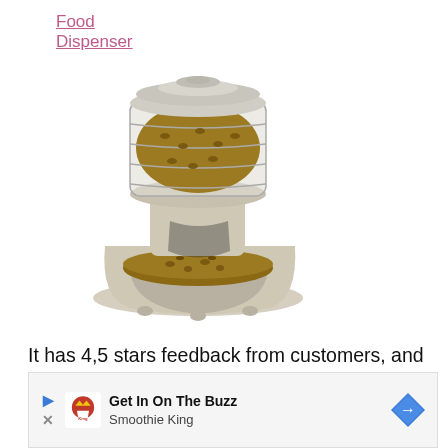Food Dispenser
[Figure (photo): A gravity-fed pet food dispenser with a clear cylindrical reservoir filled with dry kibble, sitting on a beige/cream plastic base with a bowl section at the front also filled with pet food.]
It has 4,5 stars feedback from customers, and it has a large bowl for cats to eat in. Perfect for one
[Figure (infographic): Advertisement banner for Smoothie King: 'Get In On The Buzz' with Smoothie King logo and a blue diamond navigation arrow icon on the right.]